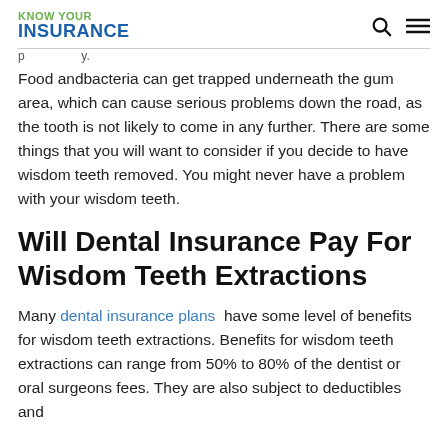KNOW YOUR INSURANCE
Food andbacteria can get trapped underneath the gum area, which can cause serious problems down the road, as the tooth is not likely to come in any further. There are some things that you will want to consider if you decide to have wisdom teeth removed. You might never have a problem with your wisdom teeth.
Will Dental Insurance Pay For Wisdom Teeth Extractions
Many dental insurance plans have some level of benefits for wisdom teeth extractions. Benefits for wisdom teeth extractions can range from 50% to 80% of the dentist or oral surgeons fees. They are also subject to deductibles and